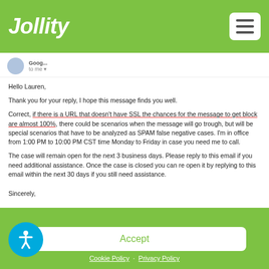Jollity
to me
Hello Lauren,

Thank you for your reply, I hope this message finds you well.

Correct, if there is a URL that doesn't have SSL the chances for the message to get block are almost 100%, there could be scenarios when the message will go trough, but will be special scenarios that have to be analyzed as SPAM false negative cases. I'm in office from 1:00 PM to 10:00 PM CST time Monday to Friday in case you need me to call.

The case will remain open for the next 3 business days. Please reply to this email if you need additional assistance. Once the case is closed you can re open it by replying to this email within the next 30 days if you still need assistance.

Sincerely,
We use cookies to optimize our website and our service.
Accept
Cookie Policy · Privacy Policy